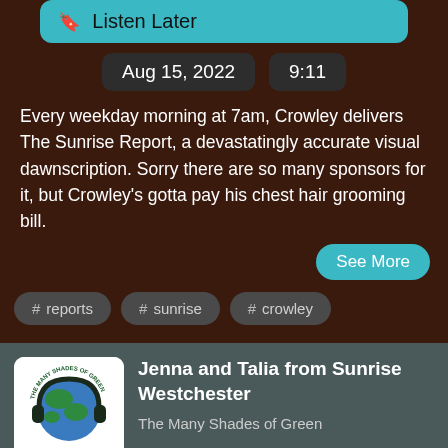Listen Later
Aug 15, 2022  9:11
Every weekday morning at 7am, Crowley delivers The Sunrise Report, a devastatingly accurate visual dawnscription.  Sorry there are so many sponsors for it, but Crowley's gotta pay his chest hair grooming bill.
See More
# reports
# sunrise
# crowley
Jenna and Talia from Sunrise Westchester
The Many Shades of Green